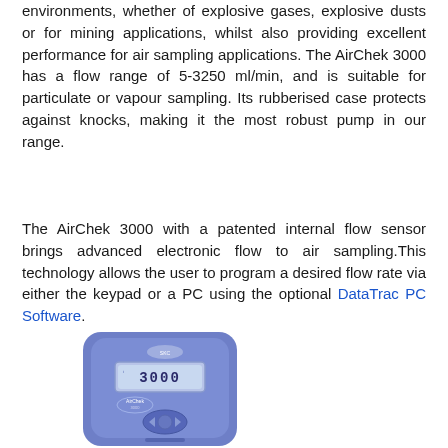environments, whether of explosive gases, explosive dusts or for mining applications, whilst also providing excellent performance for air sampling applications. The AirChek 3000 has a flow range of 5-3250 ml/min, and is suitable for particulate or vapour sampling. Its rubberised case protects against knocks, making it the most robust pump in our range.
The AirChek 3000 with a patented internal flow sensor brings advanced electronic flow to air sampling.This technology allows the user to program a desired flow rate via either the keypad or a PC using the optional DataTrac PC Software.
[Figure (photo): Photo of the AirChek 3000 air sampling pump device — a compact blue/purple rubberised unit with a digital display showing '3000', navigation buttons, and the AirChek logo on the front.]